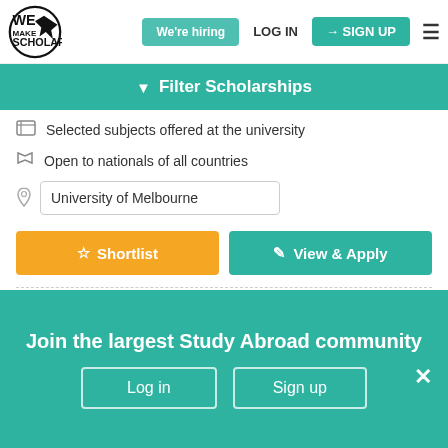We Make Scholars — navigation bar with We're hiring, LOG IN, SIGN UP buttons
Filter Scholarships
Selected subjects offered at the university
Open to nationals of all countries
University of Melbourne
Shortlist
View & Apply
Update your status of this scholarship
Join the largest Study Abroad community
Log in
Sign up